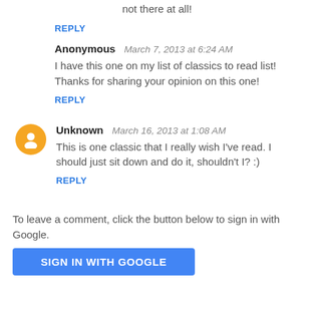not there at all!
REPLY
Anonymous   March 7, 2013 at 6:24 AM
I have this one on my list of classics to read list! Thanks for sharing your opinion on this one!
REPLY
Unknown   March 16, 2013 at 1:08 AM
This is one classic that I really wish I've read. I should just sit down and do it, shouldn't I? :)
REPLY
To leave a comment, click the button below to sign in with Google.
SIGN IN WITH GOOGLE